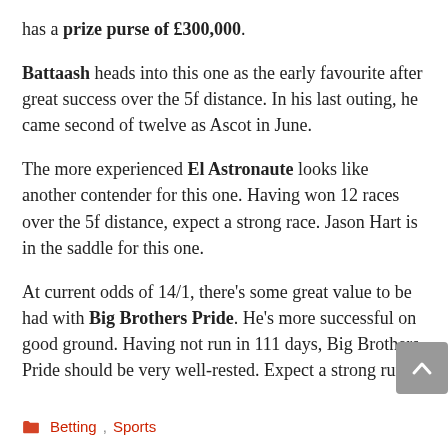has a prize purse of £300,000.
Battaash heads into this one as the early favourite after great success over the 5f distance. In his last outing, he came second of twelve as Ascot in June.
The more experienced El Astronaute looks like another contender for this one. Having won 12 races over the 5f distance, expect a strong race. Jason Hart is in the saddle for this one.
At current odds of 14/1, there's some great value to be had with Big Brothers Pride. He's more successful on good ground. Having not run in 111 days, Big Brothers Pride should be very well-rested. Expect a strong run.
Betting, Sports